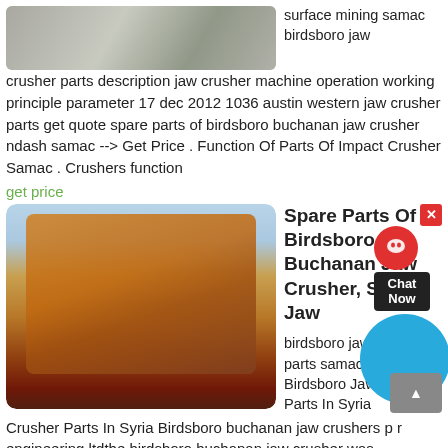[Figure (photo): Photo of a surface mining crusher machine, grayscale/muted tones, top left of page]
surface mining samac birdsboro jaw crusher parts description jaw crusher machine operation working principle parameter 17 dec 2012 1036 austin western jaw crusher parts get quote spare parts of birdsboro buchanan jaw crusher ndash samac --> Get Price . Function Of Parts Of Impact Crusher Samac . Crushers function
get price
[Figure (photo): Photo of large orange industrial jaw crusher machines on a red dirt construction/mining site]
Spare Parts Of Birdsboro Buchanan Jaw Crusher, Small Jaw
birdsboro jaw crusher parts samac coal. Birdsboro Jaw Crusher Parts In Syria Birdsboro buchanan jaw crushers p r engineering ltdthe birdsboro buchanan jaw crusher was redesigned by prengineering limited to accomodate fabricated